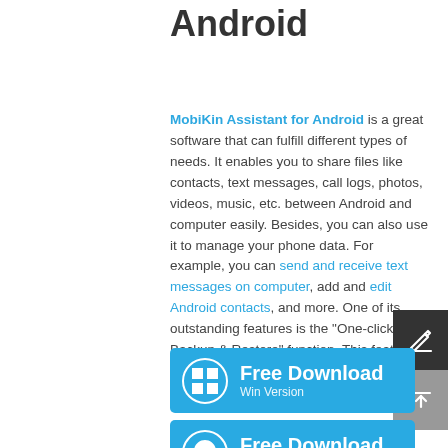Android
MobiKin Assistant for Android is a great software that can fulfill different types of needs. It enables you to share files like contacts, text messages, call logs, photos, videos, music, etc. between Android and computer easily. Besides, you can also use it to manage your phone data. For example, you can send and receive text messages on computer, add and edit Android contacts, and more. One of its outstanding features is the "One-click Backup & Restore" function. This feature allows you to backup all your Android data and restore them with one simple click.
[Figure (other): Blue download button for Windows version - Free Download Win Version]
[Figure (other): Blue download button for Mac version - Free Download Mac Version]